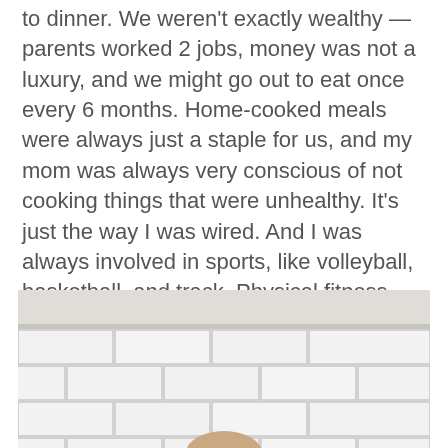to dinner. We weren't exactly wealthy — parents worked 2 jobs, money was not a luxury, and we might go out to eat once every 6 months. Home-cooked meals were always just a staple for us, and my mom was always very conscious of not cooking things that were unhealthy. It's just the way I was wired. And I was always involved in sports, like volleyball, basketball, and track. Physical fitness has been a part of my life since I could remember, and that's just something I thought all kids had. When I started working in the public school system, I was surprised to see that kids didn't get Physical Education every day.
[Figure (photo): A person photographed against a white subway tile wall background. Only the top of a head is visible at the bottom of the frame.]